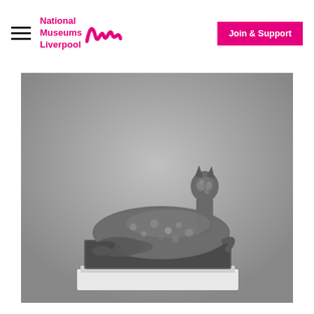National Museums Liverpool — Join & Support
[Figure (photo): Black and white photograph of a sculpture of a reclining leopard (or cheetah) on a rectangular base, displayed on a white plinth against a grey background.]